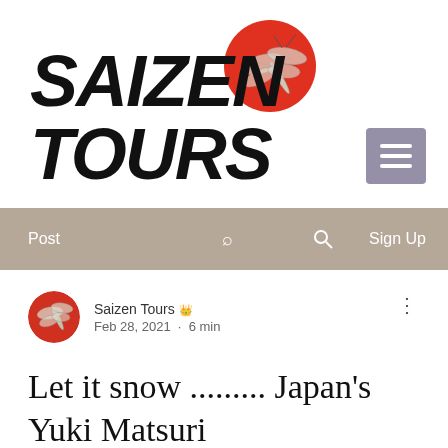[Figure (logo): Saizen Tours logo with large bold italic text 'SAIZEN TOURS' and a dragonfly illustration over a red circle]
[Figure (other): Hamburger menu button (three horizontal lines) in a purple/grey square]
Post   🔍   Sign Up
Saizen Tours 👑  Feb 28, 2021  ·  6 min
Let it snow ......... Japan's Yuki Matsuri